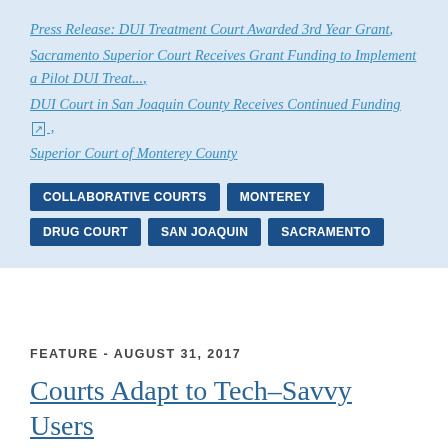Press Release: DUI Treatment Court Awarded 3rd Year Grant,
Sacramento Superior Court Receives Grant Funding to Implement a Pilot DUI Treat...,
DUI Court in San Joaquin County Receives Continued Funding [external link] ,
Superior Court of Monterey County
COLLABORATIVE COURTS   MONTEREY   DRUG COURT   SAN JOAQUIN   SACRAMENTO
FEATURE - AUGUST 31, 2017
Courts Adapt to Tech-Savvy Users